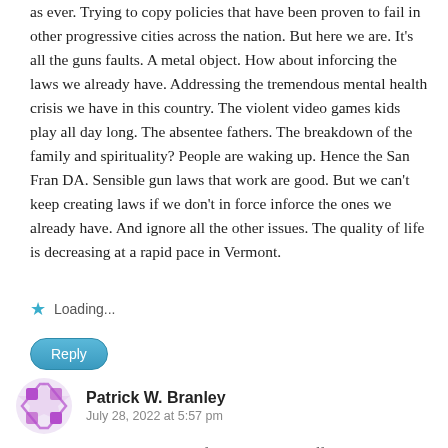as ever. Trying to copy policies that have been proven to fail in other progressive cities across the nation. But here we are. It's all the guns faults. A metal object. How about inforcing the laws we already have. Addressing the tremendous mental health crisis we have in this country. The violent video games kids play all day long. The absentee fathers. The breakdown of the family and spirituality? People are waking up. Hence the San Fran DA. Sensible gun laws that work are good. But we can't keep creating laws if we don't in force inforce the ones we already have. And ignore all the other issues. The quality of life is decreasing at a rapid pace in Vermont.
Loading...
Reply
Patrick W. Branley
July 28, 2022 at 5:57 pm
Yup. The legitimate concerns of BLM branched off to Anarchy and a no confidence vote on ALL Police? Career Criminal George Floyd and all the following ones, did not